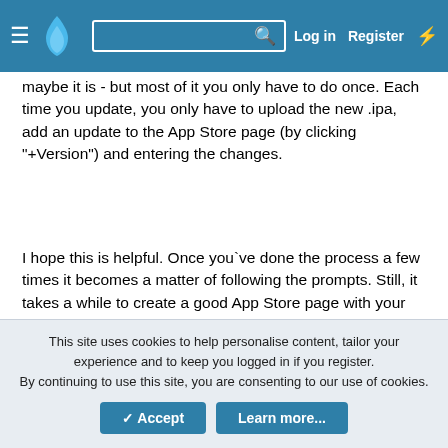Navigation bar with menu, logo, search, Log in, Register, and activity icon
maybe it is - but most of it you only have to do once. Each time you update, you only have to upload the new .ipa, add an update to the App Store page (by clicking "+Version") and entering the changes.
I hope this is helpful. Once you`ve done the process a few times it becomes a matter of following the prompts. Still, it takes a while to create a good App Store page with your screenshots and description so take your time and step through it gradually. You can always click "Save" at the top right of each page and return to it later.
Good luck! 🙂
Last edited: Aug 16, 2016
This site uses cookies to help personalise content, tailor your experience and to keep you logged in if you register.
By continuing to use this site, you are consenting to our use of cookies.